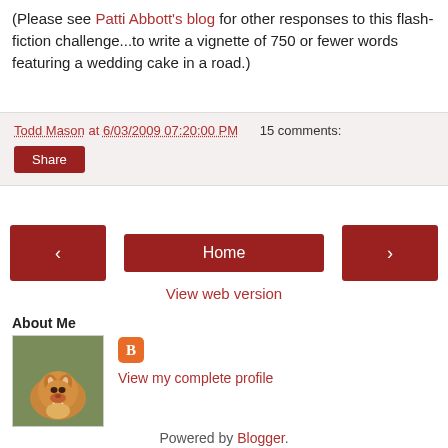(Please see Patti Abbott's blog for other responses to this flash-fiction challenge...to write a vignette of 750 or fewer words featuring a wedding cake in a road.)
Todd Mason at 6/03/2009 07:20:00 PM   15 comments:
Share
[Figure (screenshot): Navigation buttons: left arrow, Home button, right arrow]
View web version
About Me
[Figure (photo): Photo of a small fox or dog sitting on grass, mouth open]
View my complete profile
Powered by Blogger.